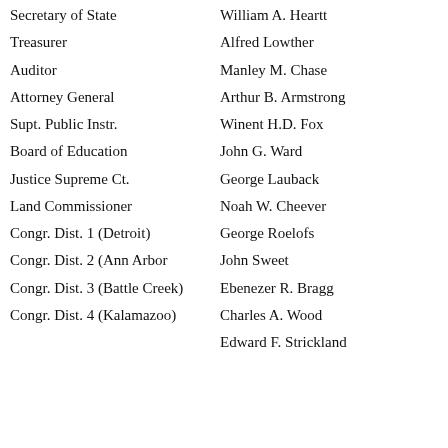Secretary of State
William A. Heartt
Treasurer
Alfred Lowther
Auditor
Manley M. Chase
Attorney General
Arthur B. Armstrong
Supt. Public Instr.
Winent H.D. Fox
Board of Education
John G. Ward
Justice Supreme Ct.
George Lauback
Land Commissioner
Noah W. Cheever
Congr. Dist. 1 (Detroit)
George Roelofs
Congr. Dist. 2 (Ann Arbor
John Sweet
Congr. Dist. 3 (Battle Creek)
Ebenezer R. Bragg
Congr. Dist. 4 (Kalamazoo)
Charles A. Wood
Edward F. Strickland